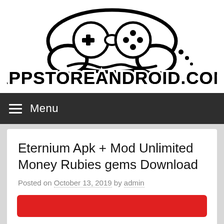[Figure (logo): Game controller logo with text APPSTOREANDROID.COM in bold black outlined font]
Menu
Eternium Apk + Mod Unlimited Money Rubies gems Download
Posted on October 13, 2019 by admin